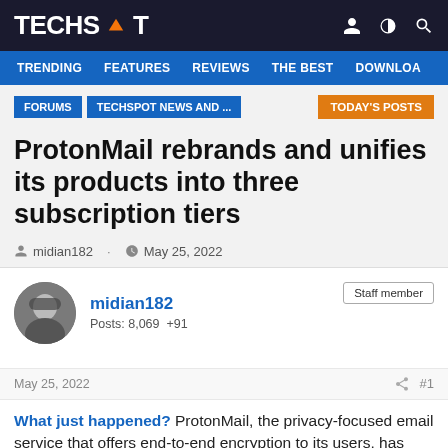TECHSPOT
TRENDING  FEATURES  REVIEWS  THE BEST  DOWNLOA
FORUMS  TECHSPOT NEWS AND ...  TODAY'S POSTS
ProtonMail rebrands and unifies its products into three subscription tiers
midian182 · May 25, 2022
midian182
Posts: 8,069  +91
Staff member
May 25, 2022  #1
What just happened? ProtonMail, the privacy-focused email service that offers end-to-end encryption to its users, has been rebranded and is consolidating its